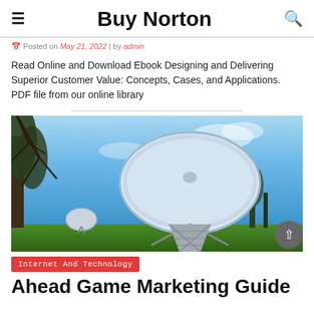Buy Norton
Posted on May 21, 2022 | by admin
Read Online and Download Ebook Designing and Delivering Superior Customer Value: Concepts, Cases, and Applications. PDF file from our online library
[Figure (photo): Large radio telescope dish against a blue sky with trees in the foreground and green grass below]
Internet And Technology
Ahead Game Marketing Guide